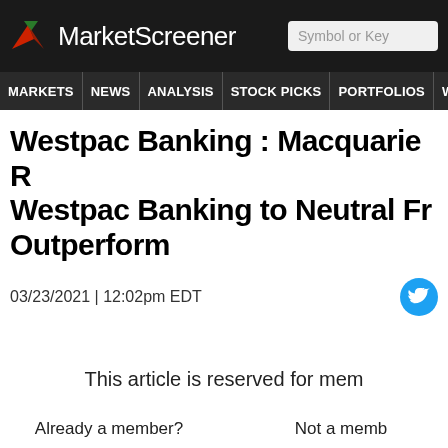MarketScreener
MARKETS NEWS ANALYSIS STOCK PICKS PORTFOLIOS WATCHLI
Westpac Banking : Macquarie R Westpac Banking to Neutral Fr Outperform
03/23/2021 | 12:02pm EDT
This article is reserved for mem
Already a member?
Not a memb
Log In
Sign up for FR